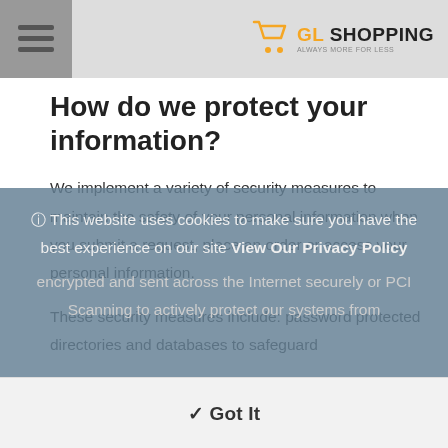GL Shopping
How do we protect your information?
We implement a variety of security measures to maintain the safety of your personal information when you submit a request, place an order or access your personal information.
These security measures include: password protected directories and databases to safeguard
This website uses cookies to make sure you have the best experience on our site View Our Privacy Policy
encrypted and sent across the Internet securely or PCI Scanning to actively protect our systems from
✓ Got It